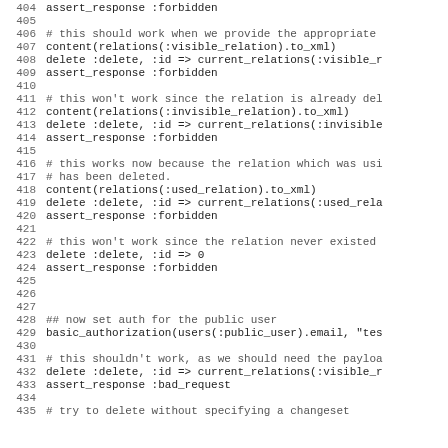Code listing lines 404-435, Ruby test code snippet
404    assert_response :forbidden
405
406    # this should work when we provide the appropriate
407    content(relations(:visible_relation).to_xml)
408    delete :delete, :id => current_relations(:visible_r
409    assert_response :forbidden
410
411    # this won't work since the relation is already del
412    content(relations(:invisible_relation).to_xml)
413    delete :delete, :id => current_relations(:invisible
414    assert_response :forbidden
415
416    # this works now because the relation which was usi
417    # has been deleted.
418    content(relations(:used_relation).to_xml)
419    delete :delete, :id => current_relations(:used_rela
420    assert_response :forbidden
421
422    # this won't work since the relation never existed
423    delete :delete, :id => 0
424    assert_response :forbidden
425
426
427
428    ## now set auth for the public user
429    basic_authorization(users(:public_user).email, "tes
430
431    # this shouldn't work, as we should need the payloa
432    delete :delete, :id => current_relations(:visible_r
433    assert_response :bad_request
434
435    # try to delete without specifying a changeset